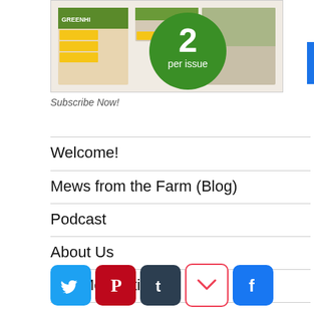[Figure (illustration): Magazine advertisement showing garden/farm magazine covers with a green circle badge reading '2 per issue']
Subscribe Now!
Welcome!
Mews from the Farm (Blog)
Podcast
About Us
The Mercantile
[Figure (logo): Social media share buttons: Twitter (blue bird), Pinterest (red), Tumblr (dark), Pocket (white/red), Facebook (blue)]